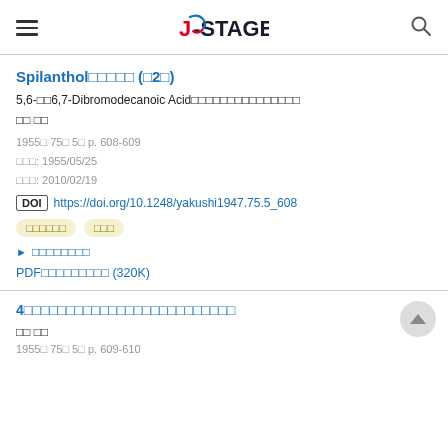J-STAGE
Spilanthol□□□□□ (□2□)
5,6-□□6,7-Dibromodecanoic Acid□□□□□□□□□□□□□□□
□□ □□
1955□ 75□ 5□ p. 608-609
□□□: 1955/05/25
□□□: 2010/02/19
DOI https://doi.org/10.1248/yakushi1947.75.5_608
□□□□□□  □□□
▶ □□□□□□□□
PDF□□□□□□□□□ (320K)
4□□□□□□□□□□□□□□□□□□□□□□□□
□□ □□
1955□ 75□ 5□ p. 609-610